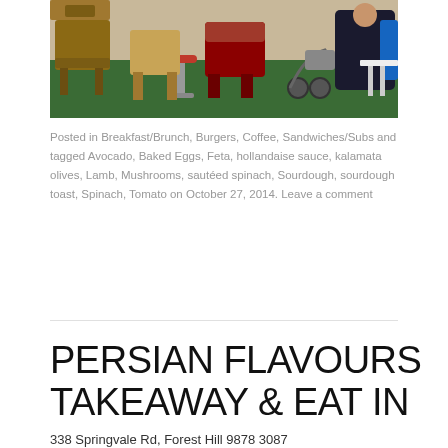[Figure (photo): Interior of a cafe with colourful chairs (red, yellow, tan) and patrons seated at tables.]
Posted in Breakfast/Brunch, Burgers, Coffee, Sandwiches/Subs and tagged Avocado, Baked Eggs, Feta, hollandaise sauce, kalamata olives, Lamb, Mushrooms, sautéed spinach, Sourdough, sourdough toast, Spinach, Tomato on October 27, 2014. Leave a comment
PERSIAN FLAVOURS TAKEAWAY & EAT IN
338 Springvale Rd, Forest Hill 9878 3087